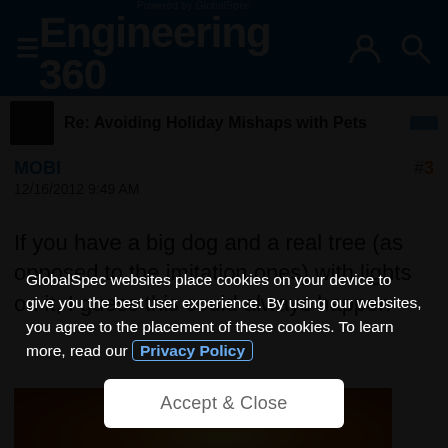Engineering 360 — Powered by GlobalSpec
Re: Avoiding Holiday Mishaps with Pets
MOBI  #3
12/16/2012 9:49 AM
If you have a big dog and a real tree (as opposed to the imitation ones) with lights on it, I guess this could always happen
[Figure (photo): Orange/red warm-toned photo, likely showing a dog near a lit tree or a fire scene]
GlobalSpec websites place cookies on your device to give you the best user experience. By using our websites, you agree to the placement of these cookies. To learn more, read our Privacy Policy
Accept & Close